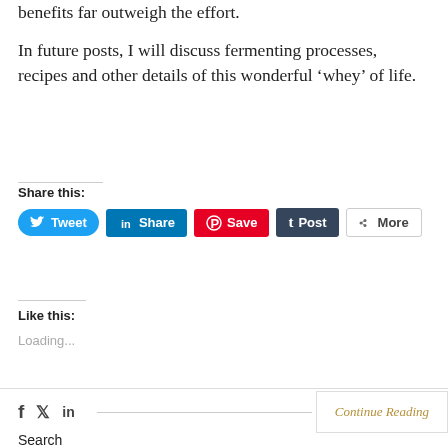benefits far outweigh the effort.
In future posts, I will discuss fermenting processes, recipes and other details of this wonderful ‘whey’ of life.
Share this:
[Figure (screenshot): Social share buttons: Tweet (Twitter, blue), Share (LinkedIn, blue), Save (Pinterest, red), Post (Tumblr, dark navy), More (grey outlined)]
Like this:
Loading...
[Figure (screenshot): Bottom navigation bar with Facebook, Twitter, LinkedIn icons on left, a horizontal line, and 'Continue Reading' link on right in gold/italic]
Search